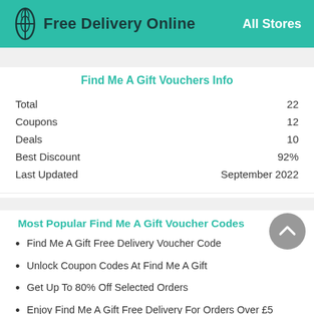Free Delivery Online — All Stores
Find Me A Gift Vouchers Info
|  |  |
| --- | --- |
| Total | 22 |
| Coupons | 12 |
| Deals | 10 |
| Best Discount | 92% |
| Last Updated | September 2022 |
Most Popular Find Me A Gift Voucher Codes
Find Me A Gift Free Delivery Voucher Code
Unlock Coupon Codes At Find Me A Gift
Get Up To 80% Off Selected Orders
Enjoy Find Me A Gift Free Delivery For Orders Over £5